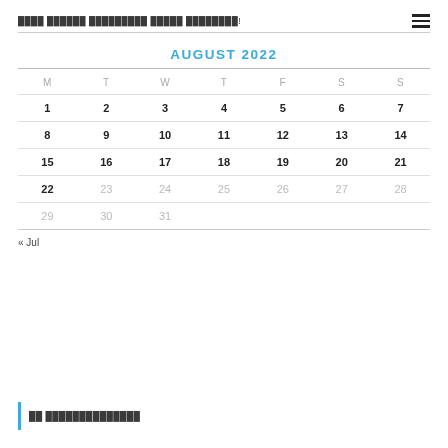████ ██████ █████████ █████ ████████!
AUGUST 2022
| M | T | W | T | F | S | S |
| --- | --- | --- | --- | --- | --- | --- |
| 1 | 2 | 3 | 4 | 5 | 6 | 7 |
| 8 | 9 | 10 | 11 | 12 | 13 | 14 |
| 15 | 16 | 17 | 18 | 19 | 20 | 21 |
| 22 | 23 | 24 | 25 | 26 | 27 | 28 |
| 29 | 30 | 31 |  |  |  |  |
« Jul
██ ██████████████